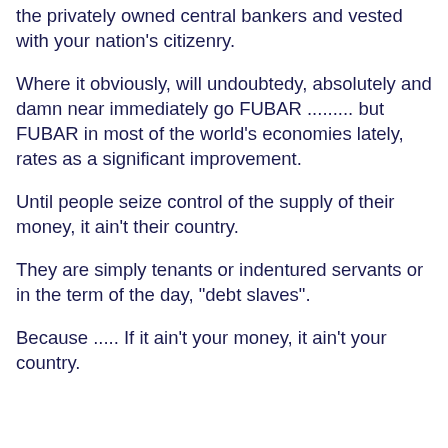the privately owned central bankers and vested with your nation's citizenry.
Where it obviously, will undoubtedy, absolutely and damn near immediately go FUBAR ......... but FUBAR in most of the world's economies lately, rates as a significant improvement.
Until people seize control of the supply of their money, it ain't their country.
They are simply tenants or indentured servants or in the term of the day, "debt slaves".
Because ..... If it ain't your money, it ain't your country.